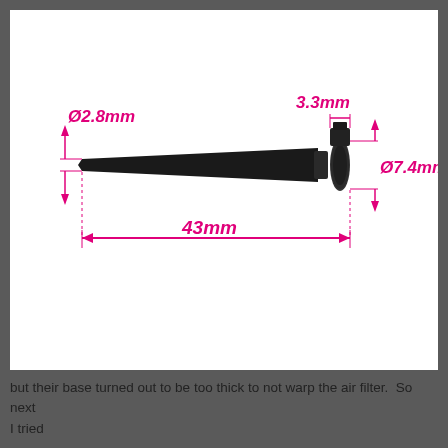[Figure (engineering-diagram): Technical diagram of a small black plastic pin/grommet component shown in profile against a white background. Magenta/pink dimension lines and labels annotate the part: Ø2.8mm (diameter of the thin shaft tip, with vertical arrows), 3.3mm (width of the head top, with horizontal bracket), Ø7.4mm (diameter of the flange/base, with vertical arrows on right side), and 43mm (overall length, with horizontal double-headed arrow below). The component tapers from a narrow tip (~2.8mm) to a wider flanged base (~7.4mm).]
but their base turned out to be too thick to not warp the air filter.  So next I tried